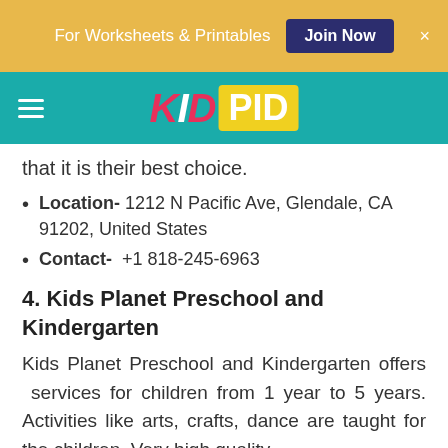For Worksheets & Printables  Join Now  ×
[Figure (logo): KidPid website logo with teal navigation bar and hamburger menu]
that it is their best choice.
Location- 1212 N Pacific Ave, Glendale, CA 91202, United States
Contact- +1 818-245-6963
4. Kids Planet Preschool and Kindergarten
Kids Planet Preschool and Kindergarten offers  services for children from 1 year to 5 years. Activities like arts, crafts, dance are taught for the children. Very high quality